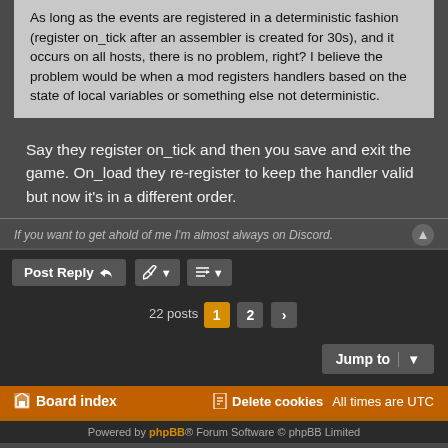As long as the events are registered in a deterministic fashion (register on_tick after an assembler is created for 30s), and it occurs on all hosts, there is no problem, right? I believe the problem would be when a mod registers handlers based on the state of local variables or something else not deterministic.
Say they register on_tick and then you save and exit the game. On_load they re-register to keep the handler valid but now it's in a different order.
If you want to get ahold of me I'm almost always on Discord.
Post Reply
22 posts  1  2  >
Jump to
Board index    Delete cookies  All times are UTC
Powered by phpBB® Forum Software © phpBB Limited